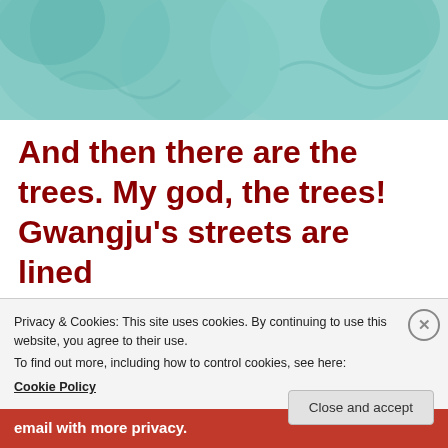[Figure (photo): Teal-colored statue figures close-up, partial view at top of page]
And then there are the trees. My god, the trees! Gwangju's streets are lined with them. There's even a
Privacy & Cookies: This site uses cookies. By continuing to use this website, you agree to their use.
To find out more, including how to control cookies, see here:
Cookie Policy
Close and accept
email with more privacy.